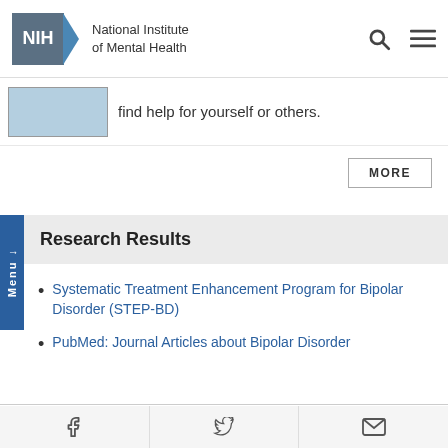NIH National Institute of Mental Health
find help for yourself or others.
MORE
Research Results
Systematic Treatment Enhancement Program for Bipolar Disorder (STEP-BD)
PubMed: Journal Articles about Bipolar Disorder
Social media links: Facebook, Twitter, Email